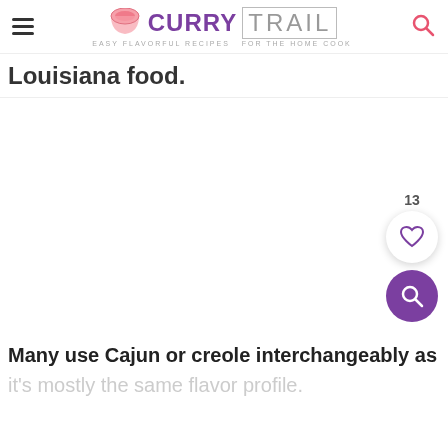Curry Trail — Easy Flavorful Recipes For The Home Cook
Louisiana food.
[Figure (other): Like/favorite heart button widget showing count 13, and a purple search button below it]
Many use Cajun or creole interchangeably as it's mostly the same flavor profile.